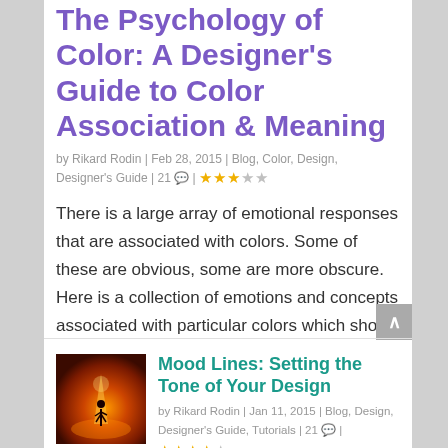The Psychology of Color: A Designer's Guide to Color Association & Meaning
by Rikard Rodin | Feb 28, 2015 | Blog, Color, Design, Designer's Guide | 21 💬 | ★★★☆☆
There is a large array of emotional responses that are associated with colors. Some of these are obvious, some are more obscure. Here is a collection of emotions and concepts associated with particular colors which should be useful to those working in design, photography and illustration.
Mood Lines: Setting the Tone of Your Design
by Rikard Rodin | Jan 11, 2015 | Blog, Design, Designer's Guide, Tutorials | 21 💬 | ★★★★☆